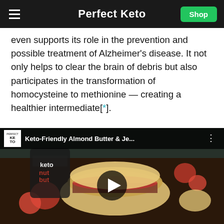Perfect Keto
even supports its role in the prevention and possible treatment of Alzheimer's disease. It not only helps to clear the brain of debris but also participates in the transformation of homocysteine to methionine — creating a healthier intermediate[*].
[Figure (screenshot): YouTube video embed thumbnail showing keto-friendly almond butter and jelly sandwich with berries, with play button overlay. Video title: Keto-Friendly Almond Butter & Je...]